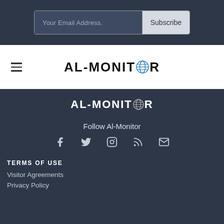Your Email Address.
Subscribe
[Figure (logo): AL-MONITOR logo with globe icon, dark text on white background]
[Figure (logo): AL-MONITOR logo with globe icon, white text on dark background]
Follow Al-Monitor
[Figure (infographic): Social media icons: Facebook, Twitter, Instagram, RSS, Email]
TERMS OF USE
Visitor Agreements
Privacy Policy